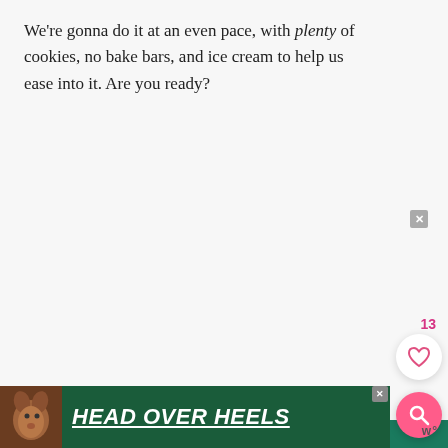We're gonna do it at an even pace, with plenty of cookies, no bake bars, and ice cream to help us ease into it. Are you ready?
[Figure (infographic): Advertisement banner: green background with dog photo and bold italic white text reading 'FOSTER. ADOPT. RESCUE. ADVOCATE.' with heart icons and a close button.]
[Figure (infographic): Bottom advertisement banner: dark green background with dog photo and bold italic white underlined text reading 'HEAD OVER HEELS'. Has a close button and a 'W' logo on the right.]